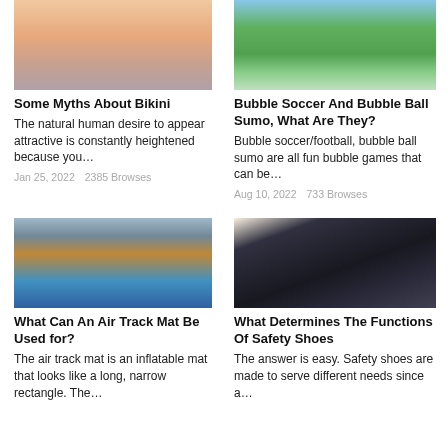[Figure (photo): Woman in pink bikini top with arms spread, beach background]
Some Myths About Bikini
The natural human desire to appear attractive is constantly heightened because you…
Jan 25, 2022   2385 Browses
[Figure (photo): Group of people playing bubble soccer on a green field]
Bubble Soccer And Bubble Ball Sumo, What Are They?
Bubble soccer/football, bubble ball sumo are all fun bubble games that can be…
Aug 10, 2022   733 Browses
[Figure (photo): Indoor gymnasium with air track mat on blue floor]
What Can An Air Track Mat Be Used for?
The air track mat is an inflatable mat that looks like a long, narrow rectangle. The…
[Figure (photo): Close-up of black athletic/safety shoes with grey accents]
What Determines The Functions Of Safety Shoes
The answer is easy. Safety shoes are made to serve different needs since a…